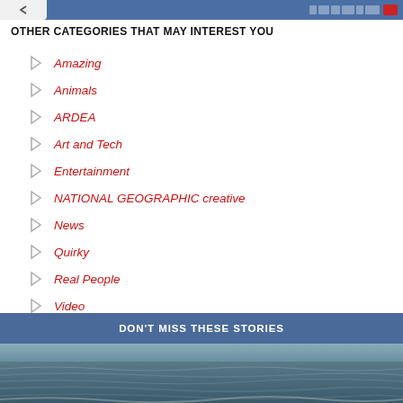[Figure (screenshot): Top navigation bar with back button and blue header bar with small text/logo on the right]
OTHER CATEGORIES THAT MAY INTEREST YOU
Amazing
Animals
ARDEA
Art and Tech
Entertainment
NATIONAL GEOGRAPHIC creative
News
Quirky
Real People
Video
DON'T MISS THESE STORIES
[Figure (photo): Ocean/sea water photo at the bottom of the page]